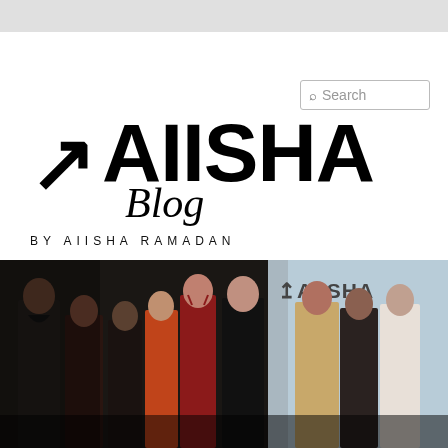[Figure (logo): AIISHA Blog by Aiisha Ramadan logo — large bold AIISHA text with arrow symbol, cursive Blog subtitle, and spaced-letter byline BY AIISHA RAMADAN]
[Figure (photo): Fashion show runway photograph showing multiple models in elegant gowns including red, black lace, gold, and white dresses. AIISHA logo visible on light blue backdrop in background. Dark atmospheric lighting.]